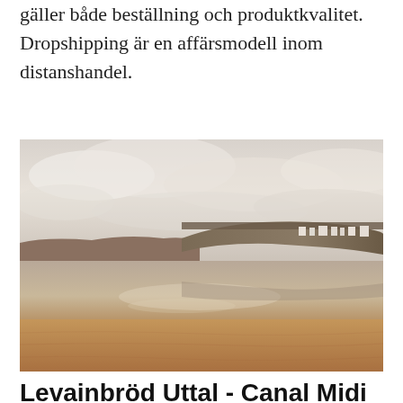gäller både beställning och produktkvalitet. Dropshipping är en affärsmodell inom distanshandel.
[Figure (photo): Landscape photo of a coastal scene with a wide sandy beach in warm brown tones in the foreground, calm reflective water in the middle ground, and a flat-topped cliff or headland with small white buildings in the background, under a pale overcast sky with soft clouds.]
Levainbröd Uttal - Canal Midi